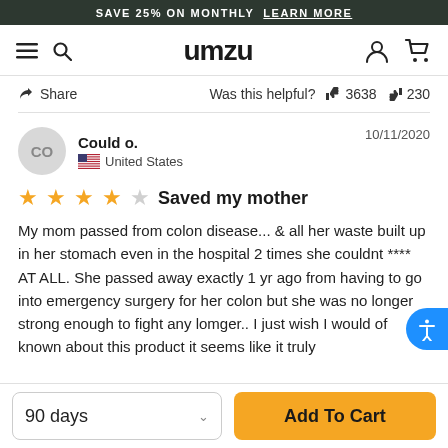SAVE 25% ON MONTHLY  LEARN MORE
umzu
Share   Was this helpful?  👍 3638  👎 230
Could o.  United States  10/11/2020
Saved my mother
My mom passed from colon disease... & all her waste built up in her stomach even in the hospital 2 times she couldnt **** AT ALL. She passed away exactly 1 yr ago from having to go into emergency surgery for her colon but she was no longer strong enough to fight any lomger.. I just wish I would of known about this product it seems like it truly
90 days
Add To Cart